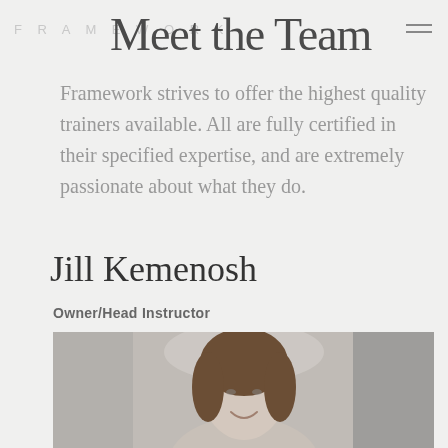FRAMEWORK  Meet the Team
Framework strives to offer the highest quality trainers available. All are fully certified in their specified expertise, and are extremely passionate about what they do.
Jill Kemenosh
Owner/Head Instructor
[Figure (photo): Portrait photo of Jill Kemenosh, a woman with long brown hair, smiling, photographed outdoors with blurred urban background]